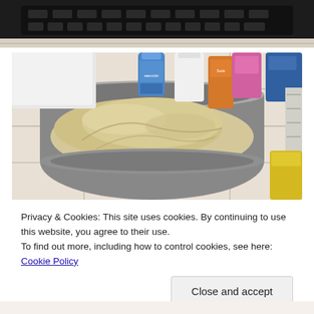[Figure (photo): Top portion of a photo showing what appears to be a dark laptop keyboard on a tiled surface, partially visible at the top of the page.]
[Figure (photo): Photo of bread dough rising in a round aluminum or metal bowl, placed on white tiles. Behind it are various bottles including a Rwenzori water bottle, an orange juice bottle, and other beverages on the right side.]
Privacy & Cookies: This site uses cookies. By continuing to use this website, you agree to their use.
To find out more, including how to control cookies, see here: Cookie Policy
Close and accept